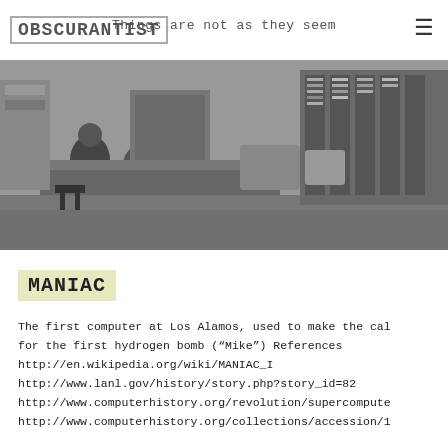OBSCURANTIST  Things are not as they seem
[Figure (photo): Black and white photograph of people working at computer consoles in a large computer room, with tall rack-mounted computer equipment visible in the background. This appears to be the MANIAC computer at Los Alamos National Laboratory.]
MANIAC
The first computer at Los Alamos, used to make the cal for the first hydrogen bomb (“Mike”) References http://en.wikipedia.org/wiki/MANIAC_I http://www.lanl.gov/history/story.php?story_id=82 http://www.computerhistory.org/revolution/supercompute http://www.computerhistory.org/collections/accession/1